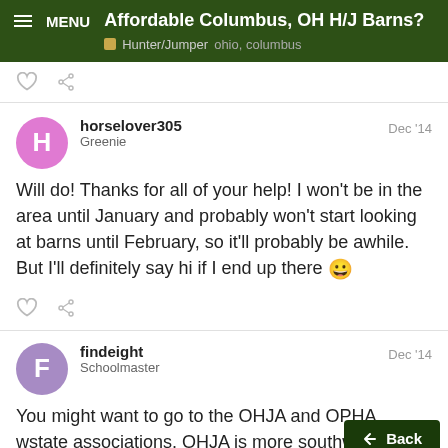Affordable Columbus, OH H/J Barns? | Hunter/Jumper ohio, columbus
Will do! Thanks for all of your help! I won't be in the area until January and probably won't start looking at barns until February, so it'll probably be awhile. But I'll definitely say hi if I end up there 😀
horselover305 — Greenie — Dec '14
findeight — Schoolmaster — Dec '14
You might want to go to the OHJA and OPHA w... state associations. OHJA is more southwe... north and east. Least help you learn locat...